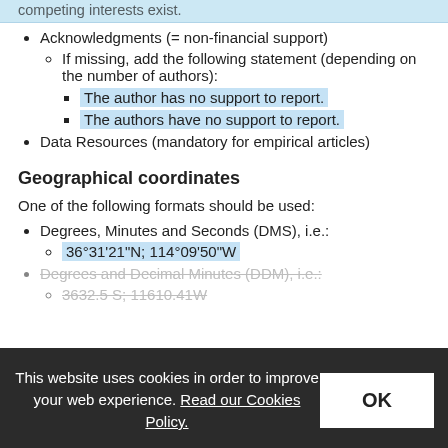competing interests exist.
Acknowledgments (= non-financial support)
If missing, add the following statement (depending on the number of authors):
The author has no support to report.
The authors have no support to report.
Data Resources (mandatory for empirical articles)
Geographical coordinates
One of the following formats should be used:
Degrees, Minutes and Seconds (DMS), i.e.:
36°31'21"N; 114°09'50"W
Degrees and Decimal Minutes (DDM), i.e.:
3632.5 S; 11610.41W
This website uses cookies in order to improve your web experience. Read our Cookies Policy.